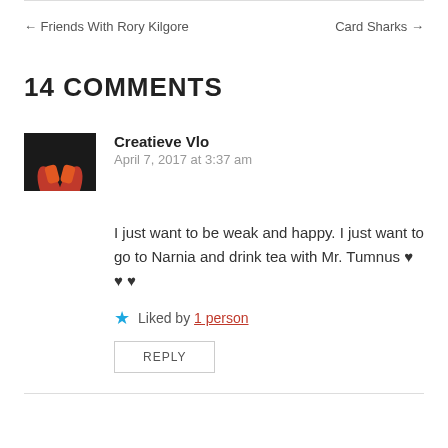← Friends With Rory Kilgore
Card Sharks →
14 COMMENTS
[Figure (photo): Avatar image of commenter Creatieve Vlo — dark background with two red/orange hands or figures facing each other]
Creatieve Vlo
April 7, 2017 at 3:37 am
I just want to be weak and happy. I just want to go to Narnia and drink tea with Mr. Tumnus ♥ ♥ ♥
Liked by 1 person
REPLY